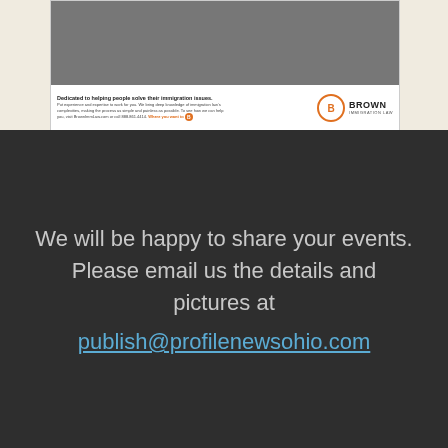[Figure (photo): Advertisement for Brown Immigration Law. Top portion shows a black-and-white group photo of people in suits. Bottom portion has text reading 'Dedicated to helping people solve their immigration issues.' with body text and the Brown Immigration Law logo (orange circle with B) and company name.]
We will be happy to share your events. Please email us the details and pictures at
publish@profilenewsohio.com